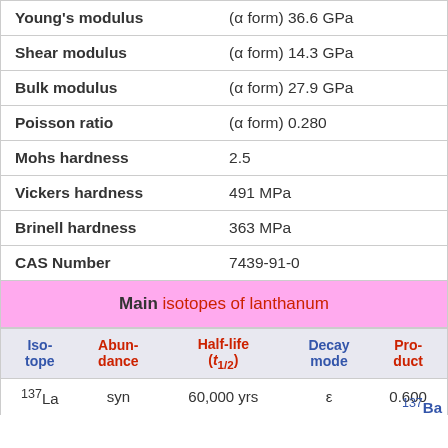| Property | Value |
| --- | --- |
| Young's modulus | (α form) 36.6 GPa |
| Shear modulus | (α form) 14.3 GPa |
| Bulk modulus | (α form) 27.9 GPa |
| Poisson ratio | (α form) 0.280 |
| Mohs hardness | 2.5 |
| Vickers hardness | 491 MPa |
| Brinell hardness | 363 MPa |
| CAS Number | 7439-91-0 |
Main isotopes of lanthanum
| Iso-tope | Abun-dance | Half-life (t1/2) | Decay mode | Pro-duct |
| --- | --- | --- | --- | --- |
| 137La | syn | 60,000 yrs | ε | 0.600 | 137Ba |